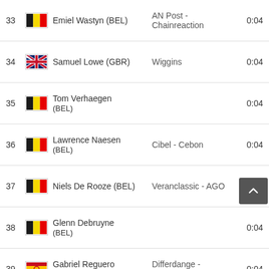| # | Flag | Name | Team | Time |
| --- | --- | --- | --- | --- |
| 33 | BEL | Emiel Wastyn (BEL) | AN Post - Chainreaction | 0:04 |
| 34 | GBR | Samuel Lowe (GBR) | Wiggins | 0:04 |
| 35 | BEL | Tom Verhaegen (BEL) |  | 0:04 |
| 36 | BEL | Lawrence Naesen (BEL) | Cibel - Cebon | 0:04 |
| 37 | BEL | Niels De Rooze (BEL) | Veranclassic - AGO | 0:04 |
| 38 | BEL | Glenn Debruyne (BEL) |  | 0:04 |
| 39 | SPA | Gabriel Reguero Corral (SPA) | Differdange - Lösch | 0:04 |